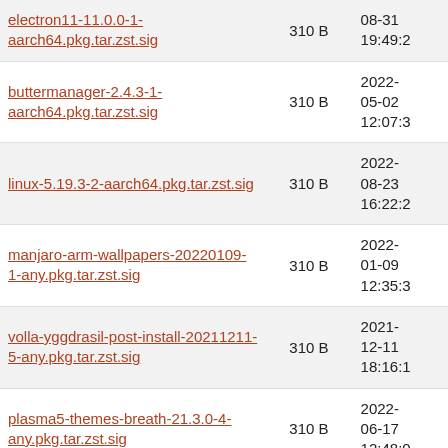| Name | Size | Date |
| --- | --- | --- |
| electron11-11.0.0-1-aarch64.pkg.tar.zst.sig | 310 B | 08-31 19:49:2 |
| buttermanager-2.4.3-1-aarch64.pkg.tar.zst.sig | 310 B | 2022-05-02 12:07:3 |
| linux-5.19.3-2-aarch64.pkg.tar.zst.sig | 310 B | 2022-08-23 16:22:2 |
| manjaro-arm-wallpapers-20220109-1-any.pkg.tar.zst.sig | 310 B | 2022-01-09 12:35:3 |
| volla-yggdrasil-post-install-20211211-5-any.pkg.tar.zst.sig | 310 B | 2021-12-11 18:16:1 |
| plasma5-themes-breath-21.3.0-4-any.pkg.tar.zst.sig | 310 B | 2022-06-17 12:48:0 |
| uboot-pine64-git-v2019.01.rc3.r35.g64abfc9b6b-3-aarch64.pkg.tar.xz.sig | 310 B | 2020-02-13 10:53:1 |
| arm-none-eabi-binutils-2.38-1-aarch64.pkg.tar.zst.sig | 310 B | 2022-02-20 18:32:3 |